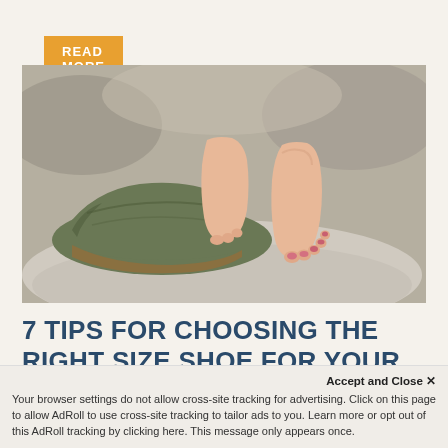READ MORE
[Figure (photo): Close-up photo of two bare feet and a green canvas slip-on shoe resting on a rock outdoors with blurred rocky background]
7 TIPS FOR CHOOSING THE RIGHT SIZE SHOE FOR YOUR FEET
May 27, 2021
Accept and Close ×
Your browser settings do not allow cross-site tracking for advertising. Click on this page to allow AdRoll to use cross-site tracking to tailor ads to you. Learn more or opt out of this AdRoll tracking by clicking here. This message only appears once.